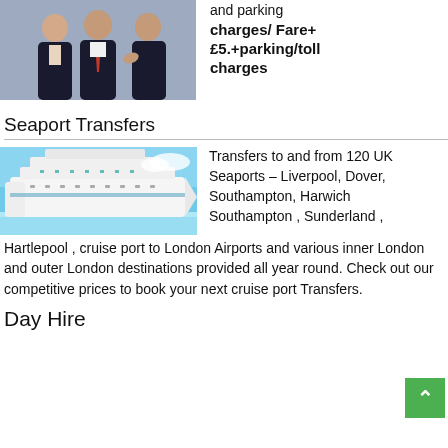[Figure (photo): Three business people in suits talking]
and parking charges/ Fare+ £5.+parking/toll charges
Seaport Transfers
[Figure (photo): Large white cruise ship on blue water with blue sky]
Transfers to and from 120 UK Seaports – Liverpool, Dover, Southampton, Harwich Southampton , Sunderland , Hartlepool , cruise port to London Airports and various inner London and outer London destinations provided all year round. Check out our competitive prices to book your next cruise port Transfers.
Day Hire